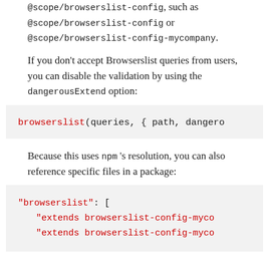@scope/browserslist-config, such as @scope/browserslist-config or @scope/browserslist-config-mycompany.
If you don't accept Browserslist queries from users, you can disable the validation by using the dangerousExtend option:
[Figure (screenshot): Code block showing: browserslist(queries, { path, dangero]
Because this uses npm 's resolution, you can also reference specific files in a package:
[Figure (screenshot): Code block showing: "browserslist": [ "extends browserslist-config-myco "extends browserslist-config-myco]